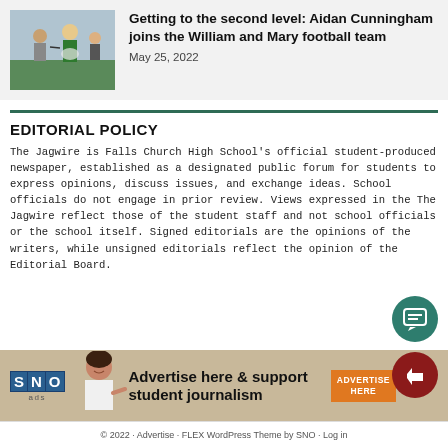[Figure (photo): Photo of a student in a green football uniform being congratulated by people, holding a helmet]
Getting to the second level: Aidan Cunningham joins the William and Mary football team
May 25, 2022
EDITORIAL POLICY
The Jagwire is Falls Church High School's official student-produced newspaper, established as a designated public forum for students to express opinions, discuss issues, and exchange ideas. School officials do not engage in prior review. Views expressed in the The Jagwire reflect those of the student staff and not school officials or the school itself. Signed editorials are the opinions of the writers, while unsigned editorials reflect the opinion of the Editorial Board.
[Figure (advertisement): SNO ads banner: Advertise here & support student journalism with orange ADVERTISE HERE button]
© 2022 · Advertise · FLEX WordPress Theme by SNO · Log in